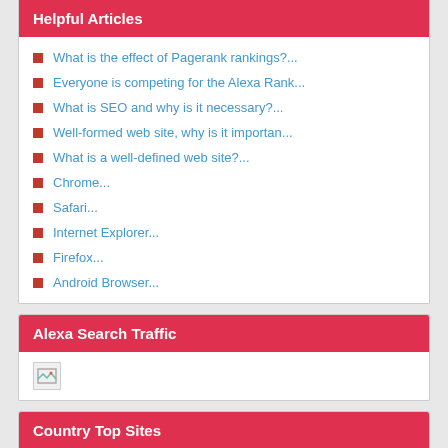Helpful Articles
What is the effect of Pagerank rankings?...
Everyone is competing for the Alexa Rank...
What is SEO and why is it necessary?...
Well-formed web site, why is it importan...
What is a well-defined web site?...
Chrome...
Safari...
Internet Explorer...
Firefox...
Android Browser...
Alexa Search Traffic
[Figure (other): Broken/loading image placeholder]
Country Top Sites
www.chattino.com
www.yahoo.co.jp